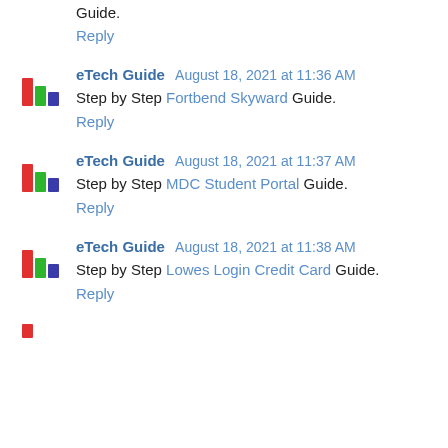Guide.
Reply
eTech Guide August 18, 2021 at 11:36 AM
Step by Step Fortbend Skyward Guide.
Reply
eTech Guide August 18, 2021 at 11:37 AM
Step by Step MDC Student Portal Guide.
Reply
eTech Guide August 18, 2021 at 11:38 AM
Step by Step Lowes Login Credit Card Guide.
Reply